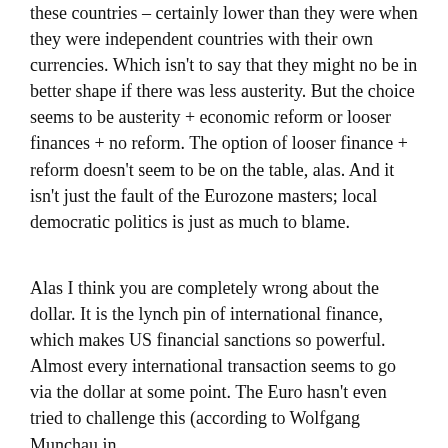these countries – certainly lower than they were when they were independent countries with their own currencies. Which isn't to say that they might no be in better shape if there was less austerity. But the choice seems to be austerity + economic reform or looser finances + no reform. The option of looser finance + reform doesn't seem to be on the table, alas. And it isn't just the fault of the Eurozone masters; local democratic politics is just as much to blame.
Alas I think you are completely wrong about the dollar. It is the lynch pin of international finance, which makes US financial sanctions so powerful. Almost every international transaction seems to go via the dollar at some point. The Euro hasn't even tried to challenge this (according to Wolfgang Munchau in